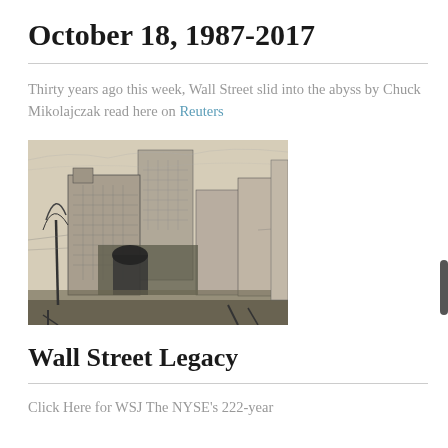October 18, 1987-2017
Thirty years ago this week, Wall Street slid into the abyss by Chuck Mikolajczak read here on Reuters
[Figure (illustration): A black and white pencil sketch or etching of a Wall Street scene showing tall buildings and city street]
Wall Street Legacy
Click Here for WSJ The NYSE's 222-year